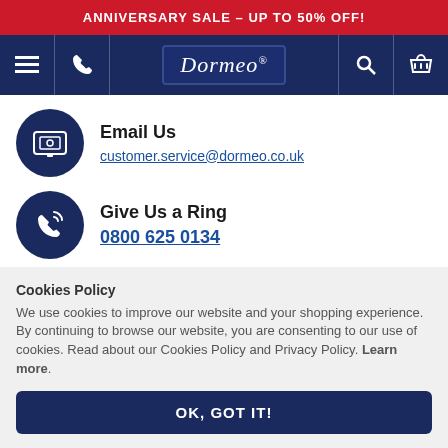ANNIVERSARY SALE – UP TO 50% OFF!
[Figure (screenshot): Dormeo website navigation bar with hamburger menu, phone icon, Dormeo logo, search icon, and basket icon on dark navy background]
Email Us
customer.service@dormeo.co.uk
Give Us a Ring
0800 625 0134
Cookies Policy
We use cookies to improve our website and your shopping experience. By continuing to browse our website, you are consenting to our use of cookies. Read about our Cookies Policy and Privacy Policy. Learn more.
OK, GOT IT!